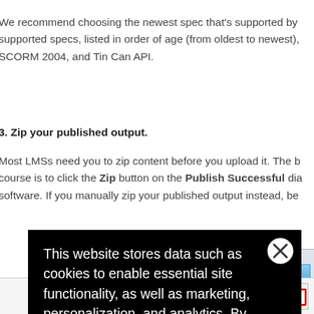We recommend choosing the newest spec that's supported by your LMS. Here are the supported specs, listed in order of age (from oldest to newest), SCORM 1.2, SCORM 2004, and Tin Can API.
3. Zip your published output.
Most LMSs need you to zip content before you upload it. The best way to zip your course is to click the Zip button on the Publish Successful dialog in Articulate software. If you manually zip your published output instead, be sure to...
[Figure (screenshot): Partial screenshot of a dialog showing 'What would you like to...' text and a 'View Pr...' button with a magnifier icon.]
This website stores data such as cookies to enable essential site functionality, as well as marketing, personalization, and analytics. By remaining on this website you indicate your consent.
Privacy Notice